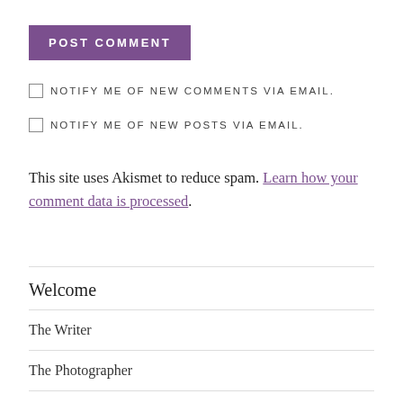POST COMMENT
NOTIFY ME OF NEW COMMENTS VIA EMAIL.
NOTIFY ME OF NEW POSTS VIA EMAIL.
This site uses Akismet to reduce spam. Learn how your comment data is processed.
Welcome
The Writer
The Photographer